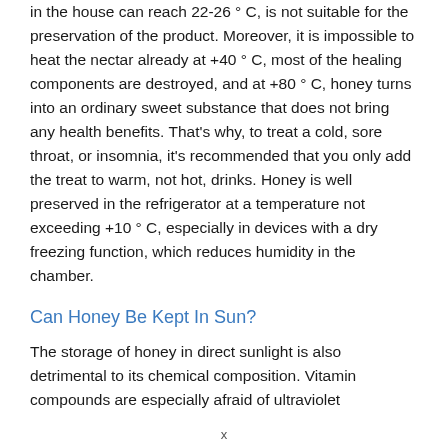in the house can reach 22-26 ° C, is not suitable for the preservation of the product. Moreover, it is impossible to heat the nectar already at +40 ° C, most of the healing components are destroyed, and at +80 ° C, honey turns into an ordinary sweet substance that does not bring any health benefits. That's why, to treat a cold, sore throat, or insomnia, it's recommended that you only add the treat to warm, not hot, drinks. Honey is well preserved in the refrigerator at a temperature not exceeding +10 ° C, especially in devices with a dry freezing function, which reduces humidity in the chamber.
Can Honey Be Kept In Sun?
The storage of honey in direct sunlight is also detrimental to its chemical composition. Vitamin compounds are especially afraid of ultraviolet